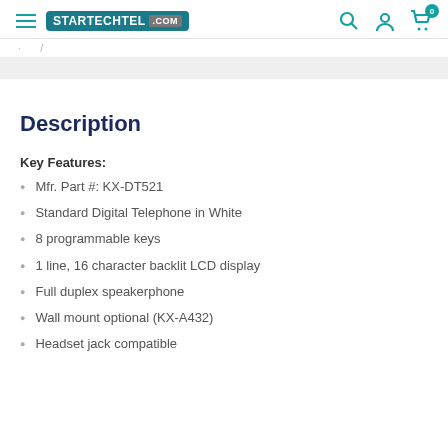STARTECHTEL .COM
Description
Key Features:
Mfr. Part #: KX-DT521
Standard Digital Telephone in White
8 programmable keys
1 line, 16 character backlit LCD display
Full duplex speakerphone
Wall mount optional (KX-A432)
Headset jack compatible